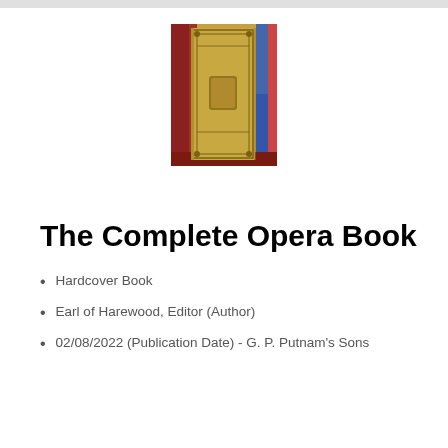[Figure (photo): Photo of a gold/tan hardcover book spine and front cover titled 'The Complete Opera Book', standing upright against a background of other books on a shelf.]
The Complete Opera Book
Hardcover Book
Earl of Harewood, Editor (Author)
02/08/2022 (Publication Date) - G. P. Putnam's Sons